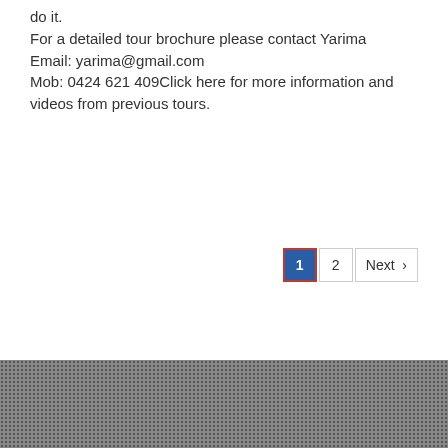do it.
For a detailed tour brochure please contact Yarima
Email: yarima@gmail.com
Mob: 0424 621 409Click here for more information and videos from previous tours.
[Figure (other): Pagination controls showing page 1 (active, blue with red border), page 2, and Next button with chevron]
[Figure (other): Dark grey dotted/textured footer bar at bottom of page]